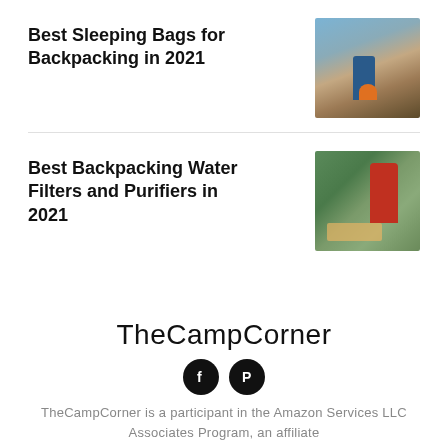Best Sleeping Bags for Backpacking in 2021
[Figure (photo): Person with orange backpack hiking through a canyon with reddish-brown rock walls]
Best Backpacking Water Filters and Purifiers in 2021
[Figure (photo): Red water filter/purifier pump with hose on a rocky surface near water with green vegetation]
TheCampCorner
[Figure (other): Facebook and Pinterest social media icons (black circles with white logos)]
TheCampCorner is a participant in the Amazon Services LLC Associates Program, an affiliate